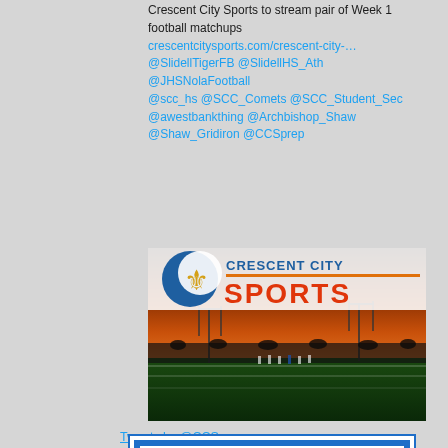Crescent City Sports to stream pair of Week 1 football matchups crescentcitysports.com/crescent-city-… @SlidellTigerFB @SlidellHS_Ath @JHSNolaFootball @scc_hs @SCC_Comets @SCC_Student_Sec @awestbankthing @Archbishop_Shaw @Shaw_Gridiron @CCSprep
[Figure (photo): Crescent City Sports logo banner over a night football stadium photo with orange/red sunset sky]
Tweets by @CCSprep
[Figure (logo): Gibbs Construction logo — blue background with white border, text GIBBS CONSTRUCTION in bold blue letters on white]